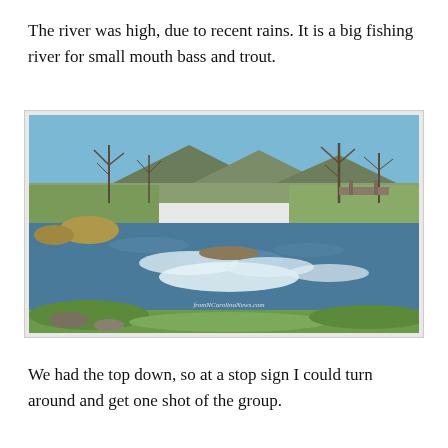The river was high, due to recent rains. It is a big fishing river for small mouth bass and trout.
[Figure (photo): A high river with white water rapids in the foreground, bare trees along the banks, green hillsides and a mountain in the background, with a bridge visible on the right side. Watermark reads 'fromNCarolinaNews.com']
We had the top down, so at a stop sign I could turn around and get one shot of the group.